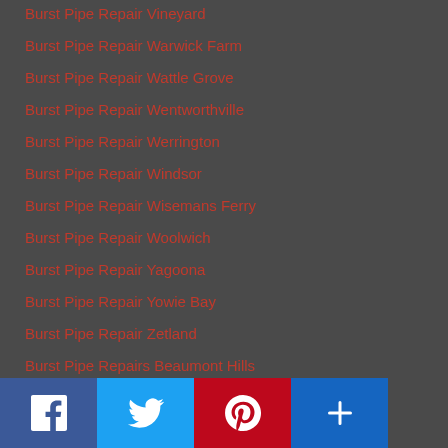Burst Pipe Repair Vineyard
Burst Pipe Repair Warwick Farm
Burst Pipe Repair Wattle Grove
Burst Pipe Repair Wentworthville
Burst Pipe Repair Werrington
Burst Pipe Repair Windsor
Burst Pipe Repair Wisemans Ferry
Burst Pipe Repair Woolwich
Burst Pipe Repair Yagoona
Burst Pipe Repair Yowie Bay
Burst Pipe Repair Zetland
Burst Pipe Repairs Beaumont Hills
Burst Pipe Repairs Bonnyrigg
Burst Pipe Repairs Cabramatta
Burst Pipe Repairs Canley Heights
Burst Pipe Repairs Canley Vale
Burst Pipe Repairs Carlingford
Burst Pipe Repairs Dural
Burst Pipe Repairs Eleanor Park
Burst Pipe Repairs Emu Plains